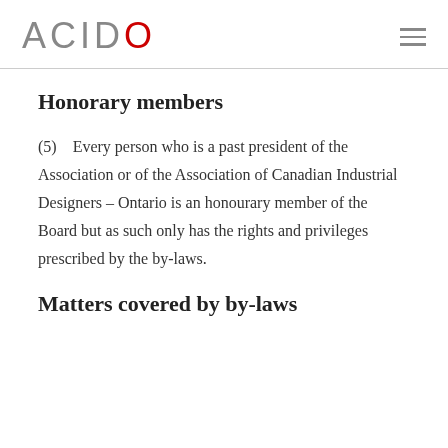ACIDO
Honorary members
(5)    Every person who is a past president of the Association or of the Association of Canadian Industrial Designers – Ontario is an honourary member of the Board but as such only has the rights and privileges prescribed by the by-laws.
Matters covered by by-laws